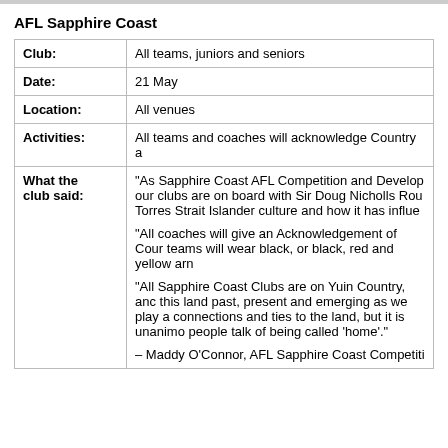AFL Sapphire Coast
| Field | Value |
| --- | --- |
| Club: | All teams, juniors and seniors |
| Date: | 21 May |
| Location: | All venues |
| Activities: | All teams and coaches will acknowledge Country a… |
| What the club said: | "As Sapphire Coast AFL Competition and Develop… our clubs are on board with Sir Doug Nicholls Rou… Torres Strait Islander culture and how it has influe… "All coaches will give an Acknowledgement of Cour… teams will wear black, or black, red and yellow arm… "All Sapphire Coast Clubs are on Yuin Country, anc… this land past, present and emerging as we play a… connections and ties to the land, but it is unanimo… people talk of being called 'home'." – Maddy O'Connor, AFL Sapphire Coast Competiti… |